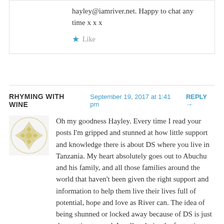hayley@iamriver.net. Happy to chat any time x x x
Like
RHYMING WITH WINE   September 19, 2017 at 1:41 pm   REPLY →
Oh my goodness Hayley. Every time I read your posts I'm gripped and stunned at how little support and knowledge there is about DS where you live in Tanzania. My heart absolutely goes out to Abuchu and his family, and all those families around the world that haven't been given the right support and information to help them live their lives full of potential, hope and love as River can. The idea of being shunned or locked away because of DS is just devastating to read. I really admire the fantastic work you do to